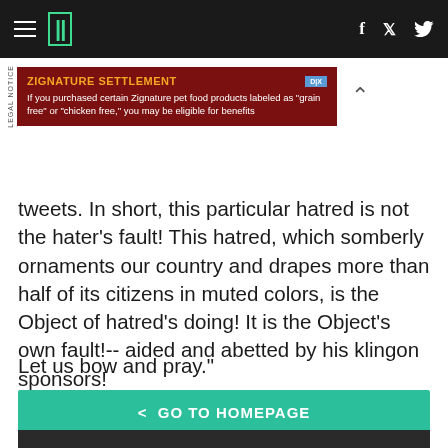HuffPost navigation bar with logo, hamburger menu, Facebook and Twitter icons
[Figure (screenshot): Zignature Settlement advertisement banner with orange title text on dark red background]
tweets. In short, this particular hatred is not the hater's fault! This hatred, which somberly ornaments our country and drapes more than half of its citizens in muted colors, is the Object of hatred's doing! It is the Object's own fault!-- aided and abetted by his klingon sponsors!
Let us bow and pray."
< GO TO HOMEPAGE
[Figure (photo): Partial bottom image strip, dark background]